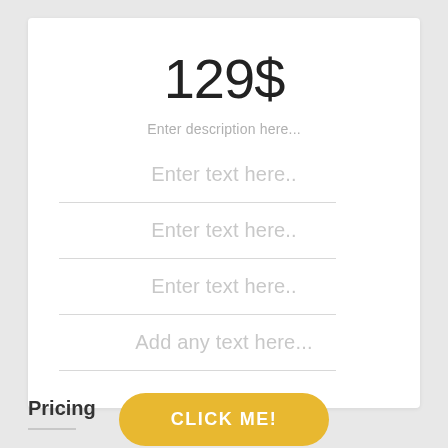129$
Enter description here...
Enter text here..
Enter text here..
Enter text here..
Add any text here...
CLICK ME!
Pricing